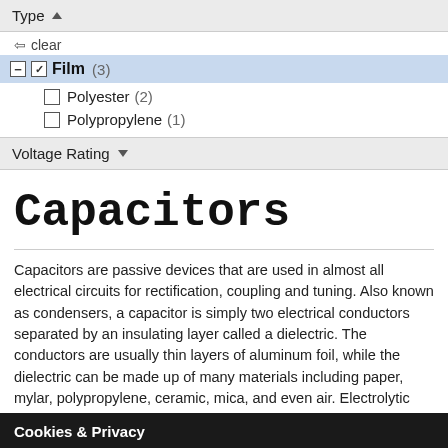Type ▲
⇐ clear
■ ✓ Film (3)
□ Polyester (2)
□ Polypropylene (1)
Voltage Rating ▼
Capacitors
Capacitors are passive devices that are used in almost all electrical circuits for rectification, coupling and tuning. Also known as condensers, a capacitor is simply two electrical conductors separated by an insulating layer called a dielectric. The conductors are usually thin layers of aluminum foil, while the dielectric can be made up of many materials including paper, mylar, polypropylene, ceramic, mica, and even air. Electrolytic capacitors have a dielectric of aluminum oxide which is formed
Cookies & Privacy